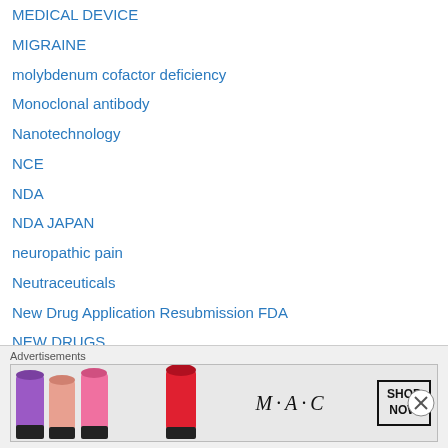MEDICAL DEVICE
MIGRAINE
molybdenum cofactor deficiency
Monoclonal antibody
Nanotechnology
NCE
NDA
NDA JAPAN
neuropathic pain
Neutraceuticals
New Drug Application Resubmission FDA
NEW DRUGS
New drugs canada
New drugs china
New drugs EU
New drugs Japan
Advertisements
[Figure (other): M·A·C cosmetics advertisement showing lipsticks and SHOP NOW button]